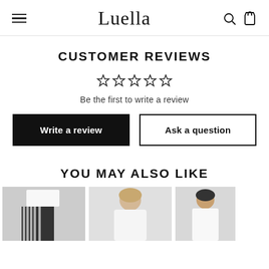Luella
CUSTOMER REVIEWS
Be the first to write a review
Write a review
Ask a question
YOU MAY ALSO LIKE
[Figure (photo): Three product photos showing women's clothing items]
[Figure (photo): Woman wearing white top and striped pants]
[Figure (photo): Woman in white top]
[Figure (photo): Woman in white outfit]